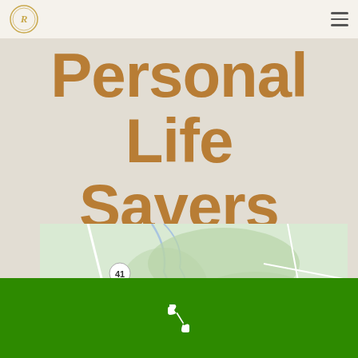Royal Oak logo and navigation menu
Personal Life Savers
[Figure (map): Google Maps view showing local area with route 41 highway marker, a location pin, yellow road, and waterways through green terrain. Partial text 'Echo C Outdoor' visible at bottom right.]
Phone contact footer with call icon on green background